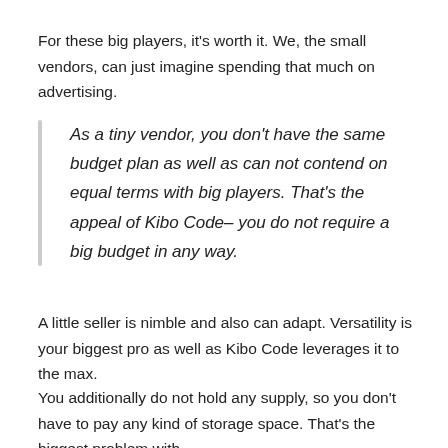For these big players, it's worth it. We, the small vendors, can just imagine spending that much on advertising.
As a tiny vendor, you don't have the same budget plan as well as can not contend on equal terms with big players. That's the appeal of Kibo Code– you do not require a big budget in any way.
A little seller is nimble and also can adapt. Versatility is your biggest pro as well as Kibo Code leverages it to the max.
You additionally do not hold any supply, so you don't have to pay any kind of storage space. That's the biggest problem with